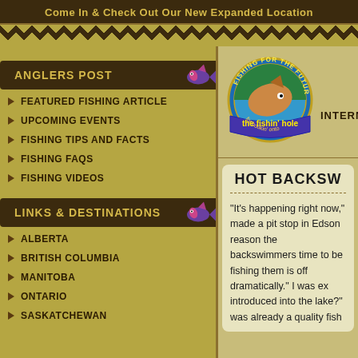Come In & Check Out Our New Expanded Location
ANGLERS POST
FEATURED FISHING ARTICLE
UPCOMING EVENTS
FISHING TIPS AND FACTS
FISHING FAQS
FISHING VIDEOS
LINKS & DESTINATIONS
ALBERTA
BRITISH COLUMBIA
MANITOBA
ONTARIO
SASKATCHEWAN
[Figure (logo): The Fishin' Hole - Fishing For The Future circular logo with a fish illustration and banner]
HOT BACKSW
"It's happening right now," made a pit stop in Edson reason the backswimmers time to be fishing them is off dramatically." I was ex introduced into the lake?" was already a quality fish